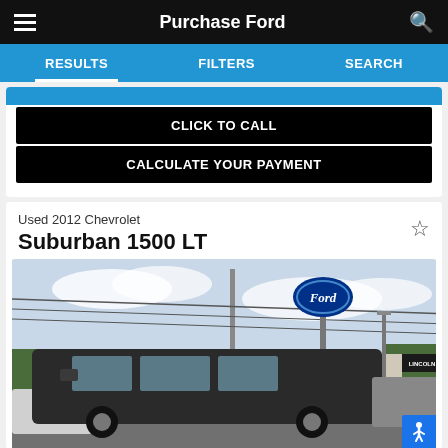Purchase Ford
RESULTS   FILTERS   SEARCH
CLICK TO CALL
CALCULATE YOUR PAYMENT
Used 2012 Chevrolet
Suburban 1500 LT
[Figure (photo): Photo of a dark-colored 2012 Chevrolet Suburban 1500 LT parked at a Ford dealership lot with a Ford oval logo sign visible on a tall pole, trees and cloudy sky in background, other vehicles visible.]